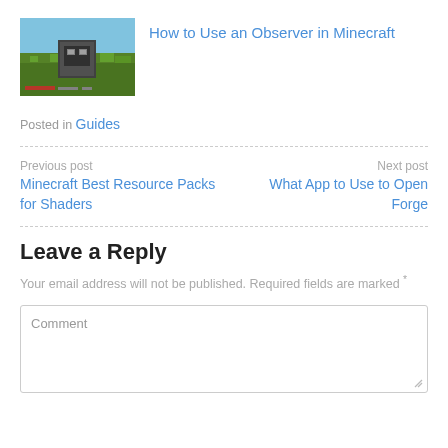[Figure (screenshot): Thumbnail image of a Minecraft scene showing an observer block on grass with green landscape background]
How to Use an Observer in Minecraft
Posted in Guides
Previous post
Minecraft Best Resource Packs for Shaders
Next post
What App to Use to Open Forge
Leave a Reply
Your email address will not be published. Required fields are marked *
Comment